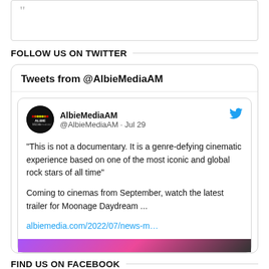[Figure (other): Quote box with closing quotation mark]
FOLLOW US ON TWITTER
[Figure (screenshot): Twitter widget showing tweets from @AlbieMediaAM. Tweet by AlbieMediaAM @AlbieMediaAM · Jul 29: "This is not a documentary. It is a genre-defying cinematic experience based on one of the most iconic and global rock stars of all time" Coming to cinemas from September, watch the latest trailer for Moonage Daydream ... albiemedia.com/2022/07/news-m…]
FIND US ON FACEBOOK